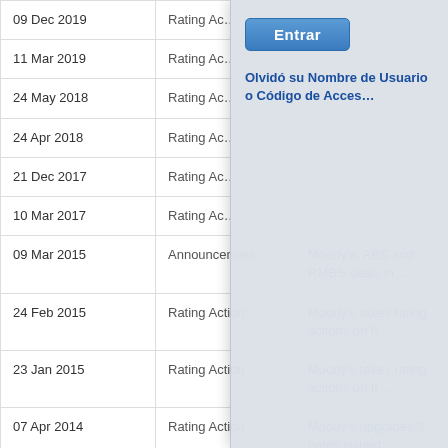| Date | Type | Title |
| --- | --- | --- |
| 09 Dec 2019 | Rating Ac… |  |
| 11 Mar 2019 | Rating Ac… |  |
| 24 May 2018 | Rating Ac… |  |
| 24 Apr 2018 | Rating Ac… |  |
| 21 Dec 2017 | Rating Ac… |  |
| 10 Mar 2017 | Rating Ac… |  |
| 09 Mar 2015 | Announcement | Moody's: ABS and RMBS deals in… |
| 24 Feb 2015 | Rating Action | Moody's takes rating actions on fi… |
| 23 Jan 2015 | Rating Action | Moody's takes rating actions on Ir… |
| 07 Apr 2014 | Rating Action | Moody's upgrades 3 notes issued… |
| 17 Mar 2014 | Rating Action | Moody's takes rating actions on S… |
| 25 Feb 2014 | Announcement | Moody's: Implications of Spain's C… Transactions |
| 14 Nov 2013 | Rating Action | Moody's reviews for downgrade B… risks |
| 11 Jun 2013 | Rating Action | Moody's confirms all ratings unde… |
| 10 Mar 2013 | Rating Ac… | Moody's Rating actions R… |
[Figure (screenshot): Modal login dialog overlay with 'Entrar' button and a link 'Olvidó su Nombre de Usuario o Código de Acces…']